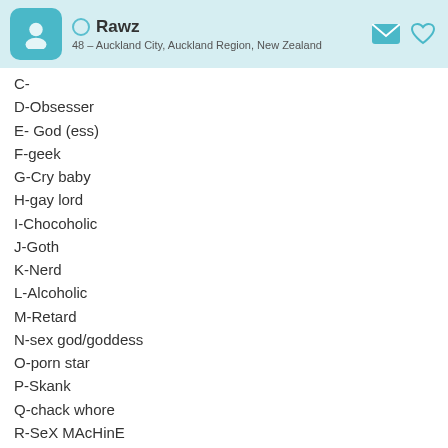Rawz — 48 – Auckland City, Auckland Region, New Zealand
C-
D-Obsesser
E- God (ess)
F-geek
G-Cry baby
H-gay lord
I-Chocoholic
J-Goth
K-Nerd
L-Alcoholic
M-Retard
N-sex god/goddess
O-porn star
P-Skank
Q-chack whore
R-SeX MAcHinE
S- Jackass
T-princess
U-Slut
V-Queen/King